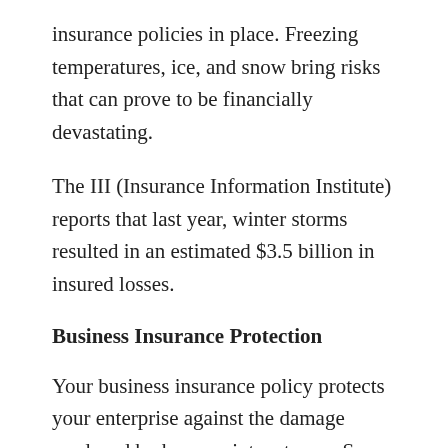insurance policies in place. Freezing temperatures, ice, and snow bring risks that can prove to be financially devastating.
The III (Insurance Information Institute) reports that last year, winter storms resulted in an estimated $3.5 billion in insured losses.
Business Insurance Protection
Your business insurance policy protects your enterprise against the damage produced by heavy winter storms. Some storm events are so extreme that it is impossible to keep the doors of a business open, either due to flooding, loss of electrical power, roof cave-ins, or the variety of other